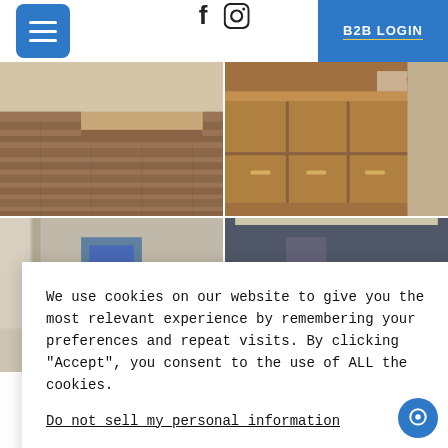Navigation bar with hamburger menu, social icons (f, Instagram), and B2B LOGIN button
[Figure (photo): Four-panel photo grid showing hotel interior scenes: wooden floor with seating bench (top-left), wooden cabinet/desk with items (top-right), hallway/corridor (bottom-left), bathroom vanity with mirror lighting (bottom-right)]
We use cookies on our website to give you the most relevant experience by remembering your preferences and repeat visits. By clicking "Accept", you consent to the use of ALL the cookies.
Do not sell my personal information
Cookie Settings
Accept